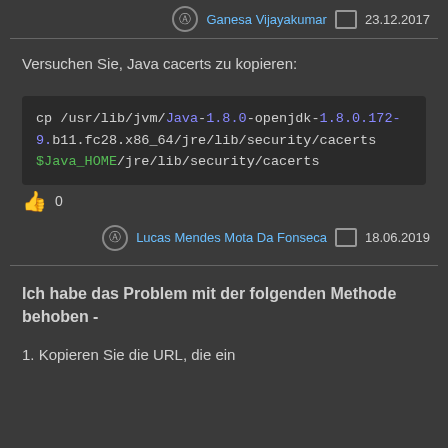Ganesa Vijayakumar  23.12.2017
Versuchen Sie, Java cacerts zu kopieren:
0 (like count)
Lucas Mendes Mota Da Fonseca  18.06.2019
Ich habe das Problem mit der folgenden Methode behoben -
1. Kopieren Sie die URL, die ein